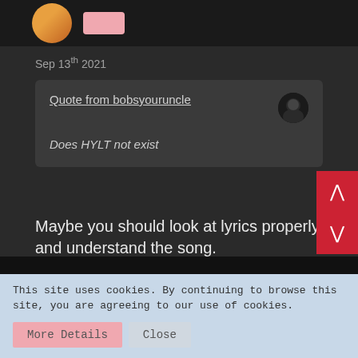[Figure (screenshot): Top dark bar with circular avatar image showing orange/brown tones and a pink button]
Sep 13th 2021
Quote from bobsyouruncle

Does HYLT not exist
Maybe you should look at lyrics properly and understand the song.
This site uses cookies. By continuing to browse this site, you are agreeing to our use of cookies.